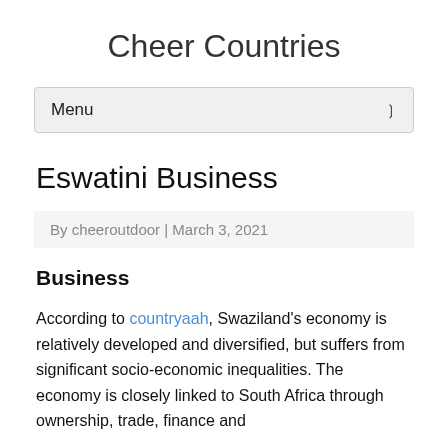Cheer Countries
Menu
Eswatini Business
By cheeroutdoor | March 3, 2021
Business
According to countryaah, Swaziland's economy is relatively developed and diversified, but suffers from significant socio-economic inequalities. The economy is closely linked to South Africa through ownership, trade, finance and